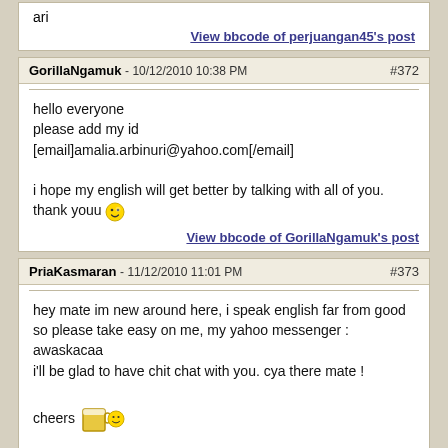ari
View bbcode of perjuangan45's post
GorillaNgamuk - 10/12/2010 10:38 PM  #372
hello everyone
please add my id
[email]amalia.arbinuri@yahoo.com[/email]

i hope my english will get better by talking with all of you.
thank youu
View bbcode of GorillaNgamuk's post
PriaKasmaran - 11/12/2010 11:01 PM  #373
hey mate im new around here, i speak english far from good so please take easy on me, my yahoo messenger : awaskacaa
i'll be glad to have chit chat with you. cya there mate !

cheers
View bbcode of PriaKasmaran's post